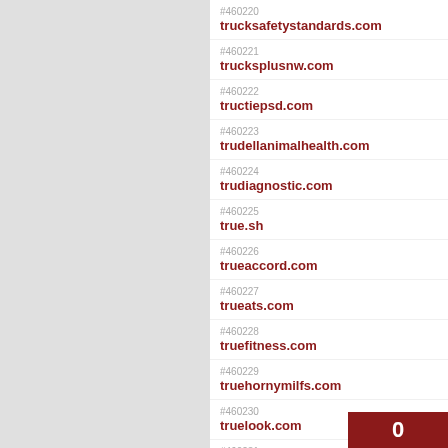#460220 trucksafetystandards.com
#460221 trucksplusnw.com
#460222 tructiepsd.com
#460223 trudellanimalhealth.com
#460224 trudiagnostic.com
#460225 true.sh
#460226 trueaccord.com
#460227 trueats.com
#460228 truefitness.com
#460229 truehornymilfs.com
#460230 truelook.com
#460231 trueluscious.com
#460232 truemadefoods.com